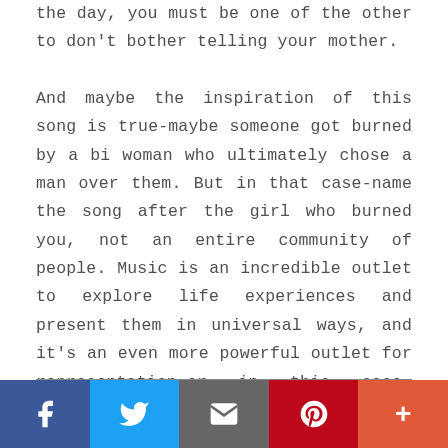the day, you must be one of the other to don't bother telling your mother.
And maybe the inspiration of this song is true-maybe someone got burned by a bi woman who ultimately chose a man over them. But in that case-name the song after the girl who burned you, not an entire community of people. Music is an incredible outlet to explore life experiences and present them in universal ways, and it's an even more powerful outlet for representation-or in this case, misrepresentation.
[Figure (infographic): Social media share bar with five buttons: Facebook (dark blue, f icon), Twitter (light blue, bird icon), Email (grey, envelope icon), Pinterest (red, P icon), More (orange-red, plus icon)]